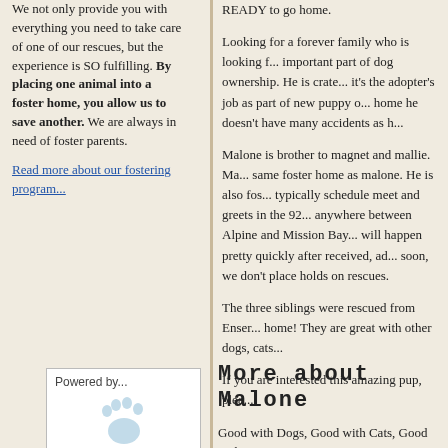We not only provide you with everything you need to take care of one of our rescues, but the experience is SO fulfilling. By placing one animal into a foster home, you allow us to save another. We are always in need of foster parents.
Read more about our fostering program...
READY to go home.
Looking for a forever family who is looking f... important part of dog ownership. He is crate... it's the adopter's job as part of new puppy o... home he doesn't have many accidents as h...
Malone is brother to magnet and mallie. Ma... same foster home as malone. He is also fos... typically schedule meet and greets in the 92... anywhere between Alpine and Mission Bay... will happen pretty quickly after received, ad... soon, we don't place holds on rescues.
The three siblings were rescued from Enser... home! They are great with other dogs, cats...
If you are interested this amazing pup, plea...
[Figure (logo): Powered by... with paw print logo]
More about Malone
Good with Dogs, Good with Cats, Good with...